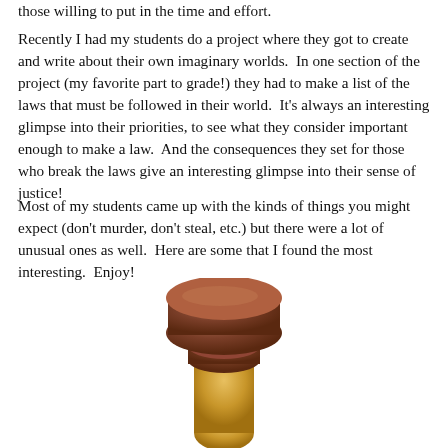those willing to put in the time and effort.
Recently I had my students do a project where they got to create and write about their own imaginary worlds.  In one section of the project (my favorite part to grade!) they had to make a list of the laws that must be followed in their world.  It's always an interesting glimpse into their priorities, to see what they consider important enough to make a law.  And the consequences they set for those who break the laws give an interesting glimpse into their sense of justice!
Most of my students came up with the kinds of things you might expect (don't murder, don't steal, etc.) but there were a lot of unusual ones as well.  Here are some that I found the most interesting.  Enjoy!
[Figure (photo): A wooden judge's gavel, partially visible at the bottom of the page, with a brown wooden head and golden/brass colored handle portion.]